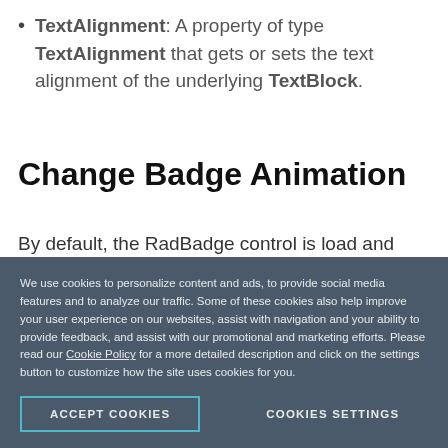TextAlignment: A property of type TextAlignment that gets or sets the text alignment of the underlying TextBlock.
Change Badge Animation
By default, the RadBadge control is load and change with an animation. The load\change animations are FadeAnimation by default. If you want to
We use cookies to personalize content and ads, to provide social media features and to analyze our traffic. Some of these cookies also help improve your user experience on our websites, assist with navigation and your ability to provide feedback, and assist with our promotional and marketing efforts. Please read our Cookie Policy for a more detailed description and click on the settings button to customize how the site uses cookies for you.
ACCEPT COOKIES     COOKIES SETTINGS